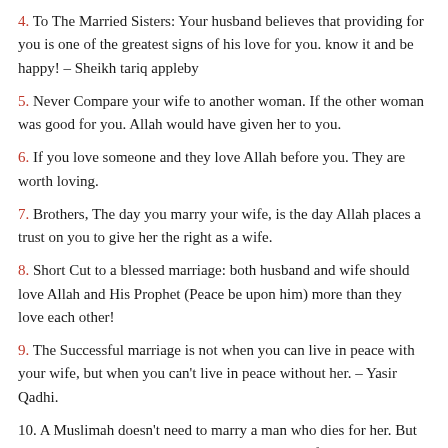4. To The Married Sisters: Your husband believes that providing for you is one of the greatest signs of his love for you. know it and be happy! – Sheikh tariq appleby
5. Never Compare your wife to another woman. If the other woman was good for you. Allah would have given her to you.
6. If you love someone and they love Allah before you. They are worth loving.
7. Brothers, The day you marry your wife, is the day Allah places a trust on you to give her the right as a wife.
8. Short Cut to a blessed marriage: both husband and wife should love Allah and His Prophet (Peace be upon him) more than they love each other!
9. The Successful marriage is not when you can live in peace with your wife, but when you can't live in peace without her. – Yasir Qadhi.
10. A Muslimah doesn't need to marry a man who dies for her. But she needs to marry a true Muslim man who lives for her. to help her be the better believer and take her take to lead her to Jannah!